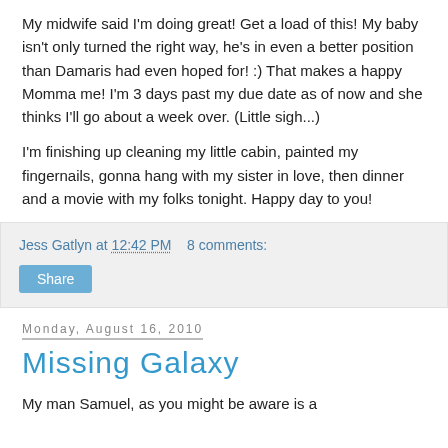My midwife said I'm doing great! Get a load of this! My baby isn't only turned the right way, he's in even a better position than Damaris had even hoped for! :) That makes a happy Momma me! I'm 3 days past my due date as of now and she thinks I'll go about a week over. (Little sigh...)
I'm finishing up cleaning my little cabin, painted my fingernails, gonna hang with my sister in love, then dinner and a movie with my folks tonight. Happy day to you!
Jess Gatlyn at 12:42 PM   8 comments:
Share
Monday, August 16, 2010
Missing Galaxy
My man Samuel, as you might be aware is a